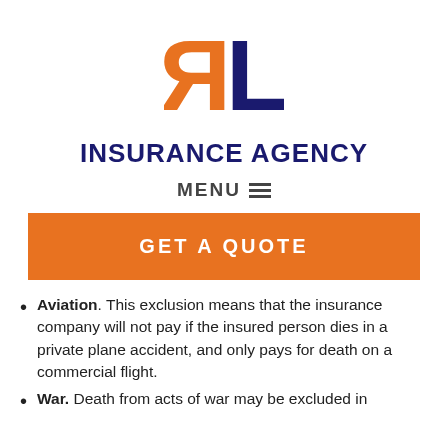[Figure (logo): RL Insurance Agency logo with stylized orange R and dark navy L letters]
INSURANCE AGENCY
MENU ≡
GET A QUOTE
Aviation. This exclusion means that the insurance company will not pay if the insured person dies in a private plane accident, and only pays for death on a commercial flight.
War. Death from acts of war may be excluded in